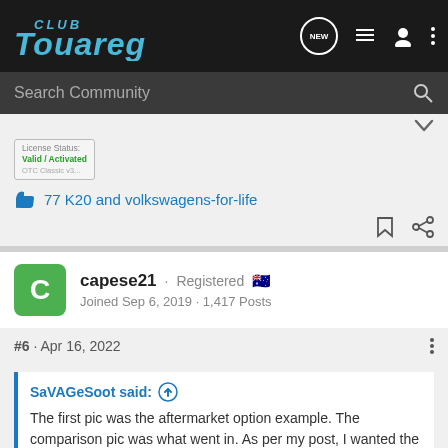Club Touareg - Search Community
[Figure (screenshot): License Status: Valid/Activated badge image]
77 K20 and volkswagens-for-life
capese21 · Registered 🇦🇺 Joined Sep 6, 2019 · 1,417 Posts
#6 · Apr 16, 2022
SaVAGeSoot said: ⬆
The first pic was the aftermarket option example. The comparison pic was what went in. As per my post, I wanted the BEM coding, and if you read about the various battery technologies, it appears that the OEM option has a good reputation/track record.